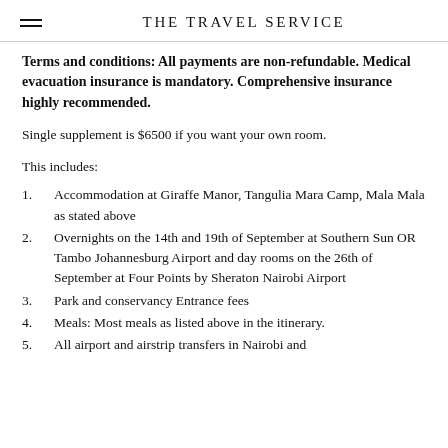THE TRAVEL SERVICE
Terms and conditions: All payments are non-refundable. Medical evacuation insurance is mandatory. Comprehensive insurance highly recommended.
Single supplement is $6500 if you want your own room.
This includes:
1. Accommodation at Giraffe Manor, Tangulia Mara Camp, Mala Mala as stated above
2. Overnights on the 14th and 19th of September at Southern Sun OR Tambo Johannesburg Airport and day rooms on the 26th of September at Four Points by Sheraton Nairobi Airport
3. Park and conservancy Entrance fees
4. Meals: Most meals as listed above in the itinerary.
5. All airport and airstrip transfers in Nairobi and...